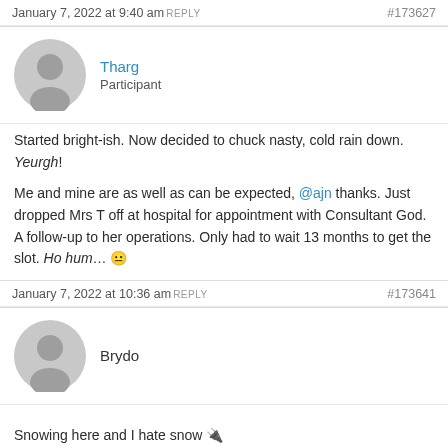January 7, 2022 at 9:40 am REPLY   #173627
Tharg
Participant
Started bright-ish. Now decided to chuck nasty, cold rain down. Yeurgh!

Me and mine are as well as can be expected, @ajn thanks. Just dropped Mrs T off at hospital for appointment with Consultant God. A follow-up to her operations. Only had to wait 13 months to get the slot. Ho hum... 😐
January 7, 2022 at 10:36 am REPLY   #173641
Brydo
Snowing here and I hate snow 🔌